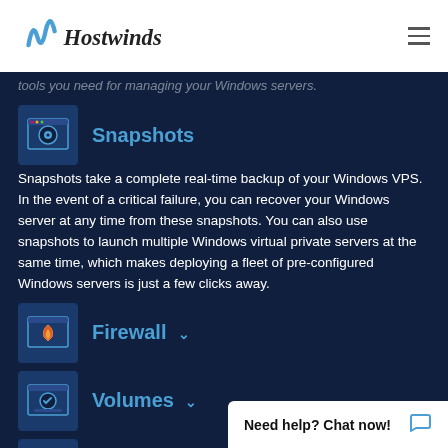Hostwinds
tools you need for managing your Windows servers.
Snapshots
Snapshots take a complete real-time backup of your Windows VPS. In the event of a critical failure, you can recover your Windows server at any time from these snapshots. You can also use snapshots to launch multiple Windows virtual private servers at the same time, which makes deploying a fleet of pre-configured Windows servers is just a few clicks away.
Firewall
Volumes
Load Balance